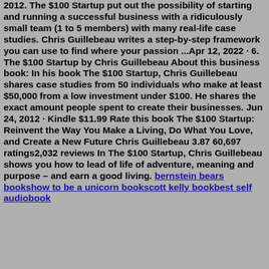2012. The $100 Startup put out the possibility of starting and running a successful business with a ridiculously small team (1 to 5 members) with many real-life case studies. Chris Guillebeau writes a step-by-step framework you can use to find where your passion ...Apr 12, 2022 · 6. The $100 Startup by Chris Guillebeau About this business book: In his book The $100 Startup, Chris Guillebeau shares case studies from 50 individuals who make at least $50,000 from a low investment under $100. He shares the exact amount people spent to create their businesses. Jun 24, 2012 · Kindle $11.99 Rate this book The $100 Startup: Reinvent the Way You Make a Living, Do What You Love, and Create a New Future Chris Guillebeau 3.87 60,697 ratings2,032 reviews In The $100 Startup, Chris Guillebeau shows you how to lead of life of adventure, meaning and purpose – and earn a good living. bernstein bears bookshow to be a unicorn bookscott kelly bookbest self audiobook